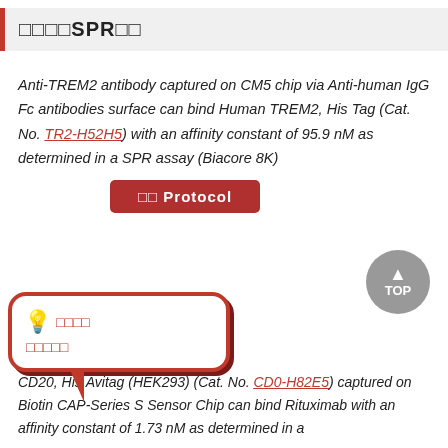□□□□SPR□□
Anti-TREM2 antibody captured on CM5 chip via Anti-human IgG Fc antibodies surface can bind Human TREM2, His Tag (Cat. No. TR2-H52H5) with an affinity constant of 95.9 nM as determined in a SPR assay (Biacore 8K)
□□ Protocol
[Figure (illustration): Speech bubble with lightbulb icon containing red text in Chinese characters]
CD20, His,Avitag (HEK293) (Cat. No. CD0-H82E5) captured on Biotin CAP-Series S Sensor Chip can bind Rituximab with an affinity constant of 1.73 nM as determined in a